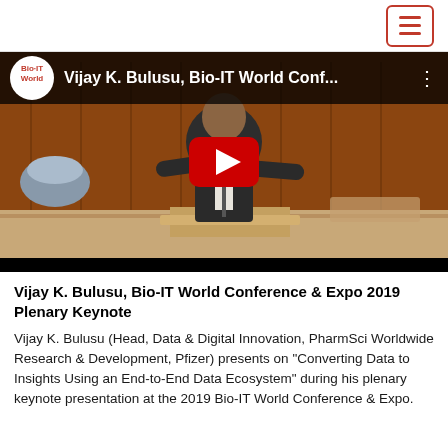[Figure (screenshot): YouTube video thumbnail showing Vijay K. Bulusu speaking at a podium at the Bio-IT World Conference & Expo 2019. The video has a YouTube play button overlay. The video header shows the Bio-IT World logo and title 'Vijay K. Bulusu, Bio-IT World Conf...']
Vijay K. Bulusu, Bio-IT World Conference & Expo 2019 Plenary Keynote
Vijay K. Bulusu (Head, Data & Digital Innovation, PharmSci Worldwide Research & Development, Pfizer) presents on "Converting Data to Insights Using an End-to-End Data Ecosystem" during his plenary keynote presentation at the 2019 Bio-IT World Conference & Expo.